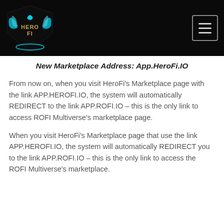[Figure (logo): HeroFi logo with cyan/blue wing design on dark background shield]
New Marketplace Address: App.HeroFi.IO
From now on, when you visit HeroFi's Marketplace page with the link APP.HEROFI.IO, the system will automatically REDIRECT to the link APP.ROFI.IO – this is the only link to access ROFI Multiverse's marketplace page.
When you visit HeroFi's Marketplace page that use the link APP.HEROFI.IO, the system will automatically REDIRECT you to the link APP.ROFI.IO – this is the only link to access the ROFI Multiverse's marketplace.